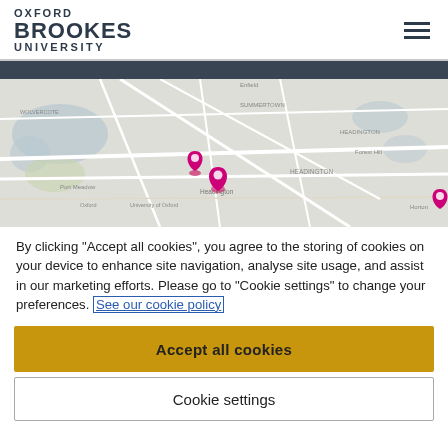OXFORD BROOKES UNIVERSITY
[Figure (map): A grey-scale map of Oxford/Headington area with pink location pin markers indicating Oxford Brookes University campuses around the Headington area.]
By clicking "Accept all cookies", you agree to the storing of cookies on your device to enhance site navigation, analyse site usage, and assist in our marketing efforts. Please go to "Cookie settings" to change your preferences. See our cookie policy
Accept all cookies
Cookie settings